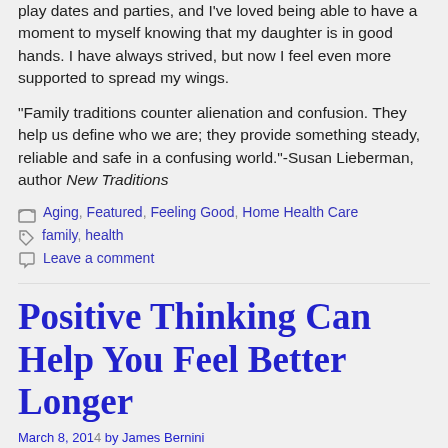play dates and parties, and I've loved being able to have a moment to myself knowing that my daughter is in good hands. I have always strived, but now I feel even more supported to spread my wings.
“Family traditions counter alienation and confusion. They help us define who we are; they provide something steady, reliable and safe in a confusing world."-Susan Lieberman, author New Traditions
Categories: Aging, Featured, Feeling Good, Home Health Care
Tags: family, health
Leave a comment
Positive Thinking Can Help You Feel Better Longer
March 8, 2014 by James Bernini...